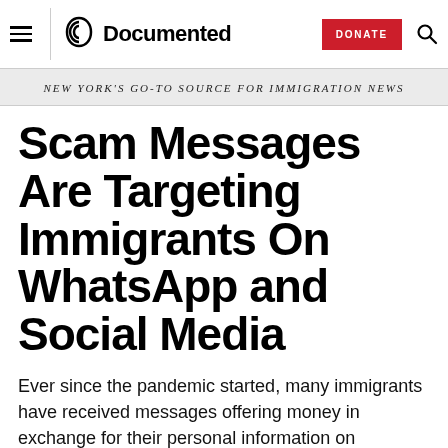Documented
NEW YORK'S GO-TO SOURCE FOR IMMIGRATION NEWS
Scam Messages Are Targeting Immigrants On WhatsApp and Social Media
Ever since the pandemic started, many immigrants have received messages offering money in exchange for their personal information on platforms like